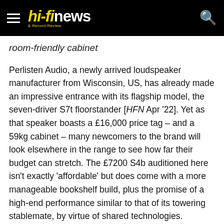hi-fi news & Record Review
room-friendly cabinet
Perlisten Audio, a newly arrived loudspeaker manufacturer from Wisconsin, US, has already made an impressive entrance with its flagship model, the seven-driver S7t floorstander [HFN Apr '22]. Yet as that speaker boasts a £16,000 price tag – and a 59kg cabinet – many newcomers to the brand will look elsewhere in the range to see how far their budget can stretch. The £7200 S4b auditioned here isn't exactly 'affordable' but does come with a more manageable bookshelf build, plus the promise of a high-end performance similar to that of its towering stablemate, by virtue of shared technologies.